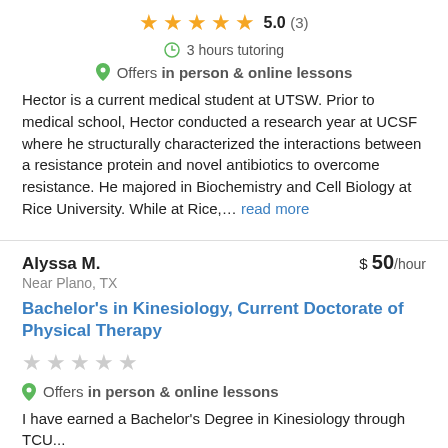5.0 (3) — 5 stars
3 hours tutoring
Offers in person & online lessons
Hector is a current medical student at UTSW. Prior to medical school, Hector conducted a research year at UCSF where he structurally characterized the interactions between a resistance protein and novel antibiotics to overcome resistance. He majored in Biochemistry and Cell Biology at Rice University. While at Rice,… read more
Alyssa M. — $50/hour — Near Plano, TX
Bachelor's in Kinesiology, Current Doctorate of Physical Therapy
Offers in person & online lessons
I have earned a Bachelor's Degree in Kinesiology through TCU...